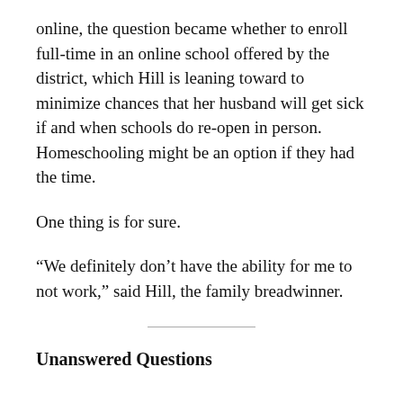online, the question became whether to enroll full-time in an online school offered by the district, which Hill is leaning toward to minimize chances that her husband will get sick if and when schools do re-open in person. Homeschooling might be an option if they had the time.
One thing is for sure.
“We definitely don’t have the ability for me to not work,” said Hill, the family breadwinner.
Unanswered Questions